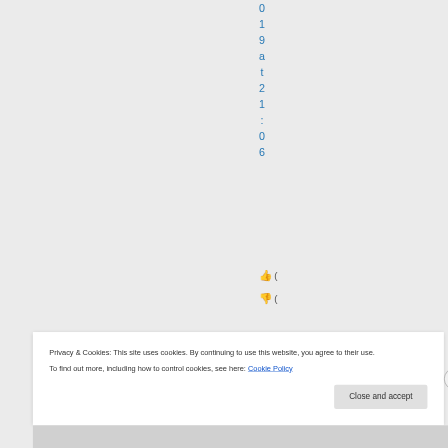0 1 9 a t 2 1 : 0 6
[Figure (other): Thumbs up emoji followed by open parenthesis]
[Figure (other): Thumbs down emoji followed by open parenthesis]
Privacy & Cookies: This site uses cookies. By continuing to use this website, you agree to their use.
To find out more, including how to control cookies, see here: Cookie Policy
Close and accept